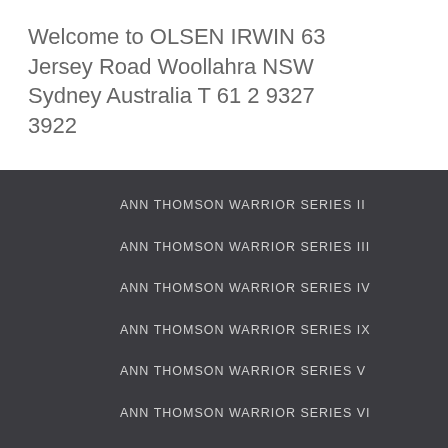Welcome to OLSEN IRWIN 63 Jersey Road Woollahra NSW Sydney Australia T 61 2 9327 3922
ANN THOMSON WARRIOR SERIES II
ANN THOMSON WARRIOR SERIES III
ANN THOMSON WARRIOR SERIES IV
ANN THOMSON WARRIOR SERIES IX
ANN THOMSON WARRIOR SERIES V
ANN THOMSON WARRIOR SERIES VI